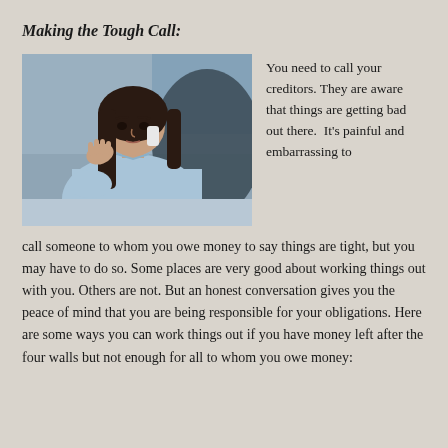Making the Tough Call:
[Figure (photo): A stressed woman with long dark hair, wearing a light blue shirt, talking on a phone and gesturing with one hand, appearing frustrated or worried.]
You need to call your creditors. They are aware that things are getting bad out there.  It's painful and embarrassing to call someone to whom you owe money to say things are tight, but you may have to do so. Some places are very good about working things out with you. Others are not. But an honest conversation gives you the peace of mind that you are being responsible for your obligations. Here are some ways you can work things out if you have money left after the four walls but not enough for all to whom you owe money: